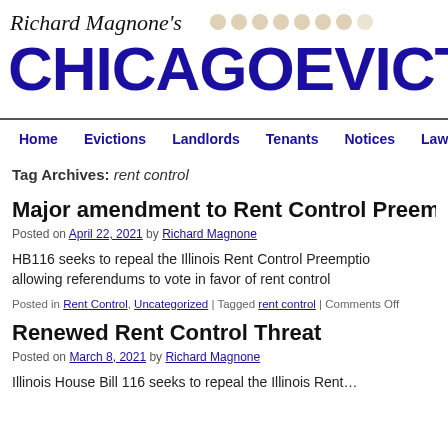Richard Magnone's CHICAGOEVICTION.COM
Home | Evictions | Landlords | Tenants | Notices | Laws
Tag Archives: rent control
Major amendment to Rent Control Preem…
Posted on April 22, 2021 by Richard Magnone
HB116 seeks to repeal the Illinois Rent Control Preemption allowing referendums to vote in favor of rent control
Posted in Rent Control, Uncategorized | Tagged rent control | Comments Off
Renewed Rent Control Threat
Posted on March 8, 2021 by Richard Magnone
Illinois House Bill 116 seeks to repeal the Illinois Rent…